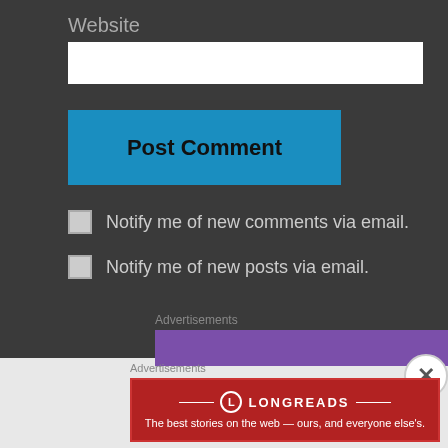Website
Post Comment
Notify me of new comments via email.
Notify me of new posts via email.
Advertisements
Advertisements
[Figure (logo): Longreads logo and tagline banner: The best stories on the web — ours, and everyone else's.]